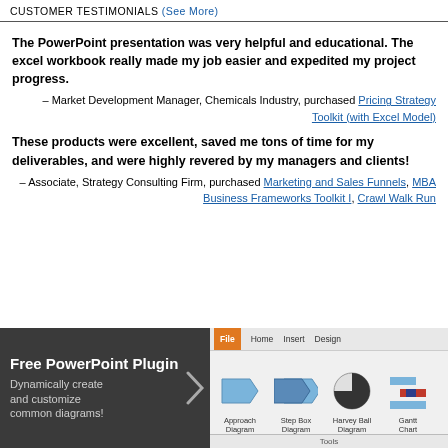CUSTOMER TESTIMONIALS (See More)
The PowerPoint presentation was very helpful and educational. The excel workbook really made my job easier and expedited my project progress.
– Market Development Manager, Chemicals Industry, purchased Pricing Strategy Toolkit (with Excel Model)
These products were excellent, saved me tons of time for my deliverables, and were highly revered by my managers and clients!
– Associate, Strategy Consulting Firm, purchased Marketing and Sales Funnels, MBA Business Frameworks Toolkit I, Crawl Walk Run
[Figure (screenshot): Banner advertisement for Free PowerPoint Plugin showing diagram icons: Approach Diagram, Step Box Diagram, Harvey Ball Diagram, Gantt Chart, with text 'Dynamically create and customize common diagrams!']